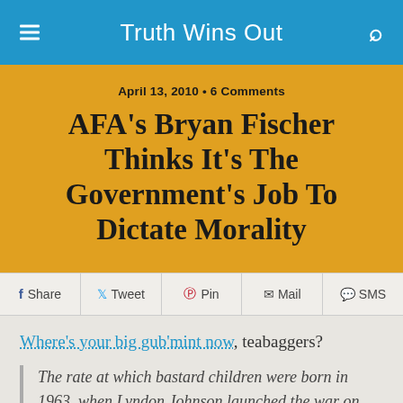Truth Wins Out
April 13, 2010 • 6 Comments
AFA's Bryan Fischer Thinks It's The Government's Job To Dictate Morality
Share | Tweet | Pin | Mail | SMS
Where's your big gub'mint now, teabaggers?
The rate at which bastard children were born in 1963, when Lyndon Johnson launched the war on poverty, was seven percent. Meanwhile, we continue to maintain actual marriage penalties